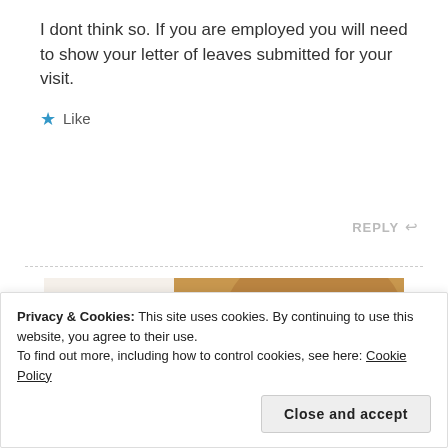I dont think so. If you are employed you will need to show your letter of leaves submitted for your visit.
★ Like
REPLY ↩
[Figure (screenshot): Ad banner showing 'Let's get started' text on left with cream background and a photo of hands typing on a laptop on the right]
Privacy & Cookies: This site uses cookies. By continuing to use this website, you agree to their use.
To find out more, including how to control cookies, see here: Cookie Policy
Close and accept